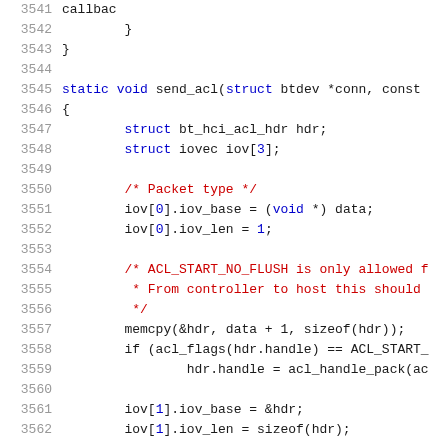[Figure (screenshot): Source code listing showing C code lines 3541-3562, including a function send_acl with struct declarations, comments, and statements for packet handling]